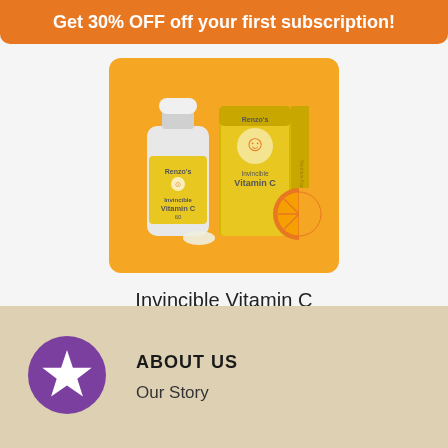Get 30% OFF off your first subscription!
[Figure (photo): Renzo's Vitamin C product bottle and box with orange slice on yellow/orange background]
Invincible Vitamin C
$19.99
[Figure (illustration): Purple circle with white star icon]
ABOUT US
Our Story